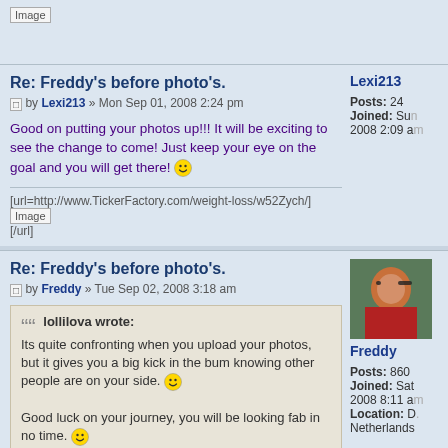[Figure (screenshot): Top partial post block with broken image placeholder]
Re: Freddy's before photo's.
by Lexi213 » Mon Sep 01, 2008 2:24 pm
Good on putting your photos up!!! It will be exciting to see the change to come! Just keep your eye on the goal and you will get there! :)
[url=http://www.TickerFactory.com/weight-loss/w52Zych/]
[Image]
[/url]
Re: Freddy's before photo's.
by Freddy » Tue Sep 02, 2008 3:18 am
lollilova wrote: Its quite confronting when you upload your photos, but it gives you a big kick in the bum knowing other people are on your side. :) Good luck on your journey, you will be looking fab in no time. :)